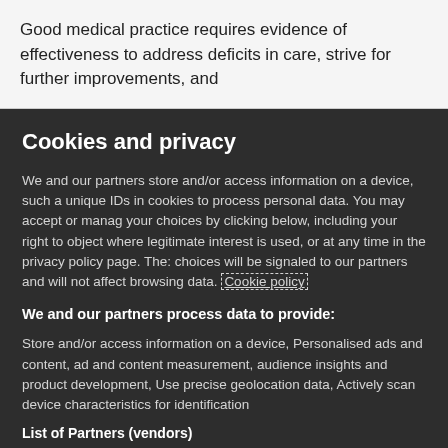Good medical practice requires evidence of effectiveness to address deficits in care, strive for further improvements, and
Cookies and privacy
We and our partners store and/or access information on a device, such as unique IDs in cookies to process personal data. You may accept or manage your choices by clicking below, including your right to object where legitimate interest is used, or at any time in the privacy policy page. These choices will be signaled to our partners and will not affect browsing data. Cookie policy
We and our partners process data to provide:
Store and/or access information on a device, Personalised ads and content, ad and content measurement, audience insights and product development, Use precise geolocation data, Actively scan device characteristics for identification
List of Partners (vendors)
I Accept